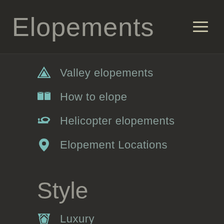Elopements
Valley elopements
How to elope
Helicopter elopements
Elopement Locations
Style
Luxury
Rustic
Intimate
Destination